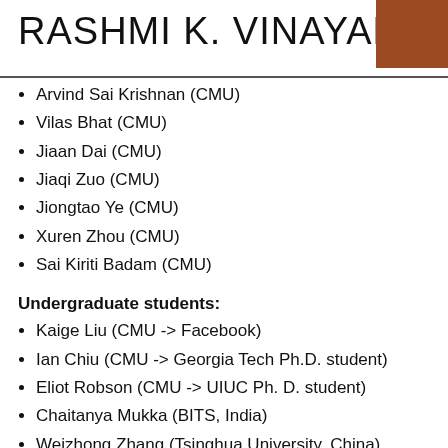RASHMI K. VINAYAK
Arvind Sai Krishnan (CMU)
Vilas Bhat (CMU)
Jiaan Dai (CMU)
Jiaqi Zuo (CMU)
Jiongtao Ye (CMU)
Xuren Zhou (CMU)
Sai Kiriti Badam (CMU)
Undergraduate students:
Kaige Liu (CMU -> Facebook)
Ian Chiu (CMU -> Georgia Tech Ph.D. student)
Eliot Robson (CMU -> UIUC Ph. D. student)
Chaitanya Mukka (BITS, India)
Weizhong Zhang (Tsinghua University, China)
Sanya Agarwarl (CMU)